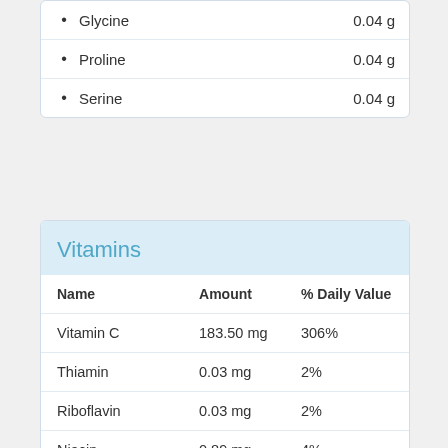Glycine    0.04 g
Proline    0.04 g
Serine    0.04 g
Vitamins
| Name | Amount | % Daily Value |
| --- | --- | --- |
| Vitamin C | 183.50 mg | 306% |
| Thiamin | 0.03 mg | 2% |
| Riboflavin | 0.03 mg | 2% |
| Niacin | 0.89 mg | 4% |
| Pantothenic Acid | 0.17 mg | 2% |
| Vitamin B6 | 0.17 mg | 9% |